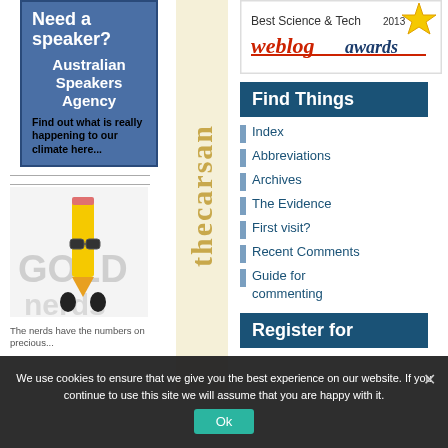[Figure (illustration): Australian Speakers Agency advertisement with blue background. Text: Need a speaker? Australian Speakers Agency. Find out what is really happening to our climate here...]
[Figure (logo): Gold Nerds logo - cartoon pencil character with sunglasses, text GOLD nerds]
The nerds have the numbers on precious...
[Figure (illustration): Vertical text reading 'thecarsan' in gold/yellow on cream background]
[Figure (logo): Best Science & Tech 2013 weblog awards badge with star graphic]
Find Things
Index
Abbreviations
Archives
The Evidence
First visit?
Recent Comments
Guide for commenting
Register for
We use cookies to ensure that we give you the best experience on our website. If you continue to use this site we will assume that you are happy with it.